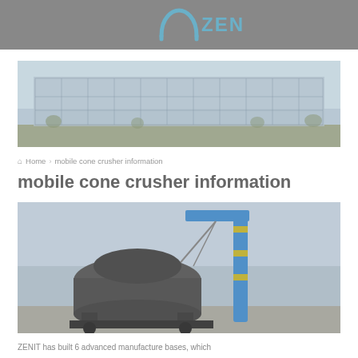ZENIT
[Figure (photo): Panoramic photo of a large modern industrial/commercial building with glass facade, clear sky, green trees in foreground]
Home › mobile cone crusher information
mobile cone crusher information
[Figure (photo): Photo of a mobile cone crusher machine being lifted by a blue crane on a worksite]
ZENIT has built 6 advanced manufacture bases, which